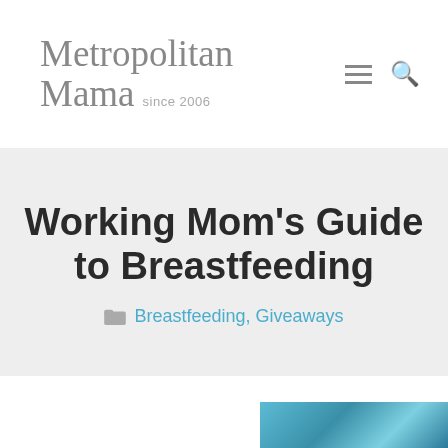Metropolitan Mama since 2006
Working Mom's Guide to Breastfeeding
Breastfeeding, Giveaways
[Figure (screenshot): Partial image visible at bottom right corner of page, appears to be a photo with blue/teal tones]